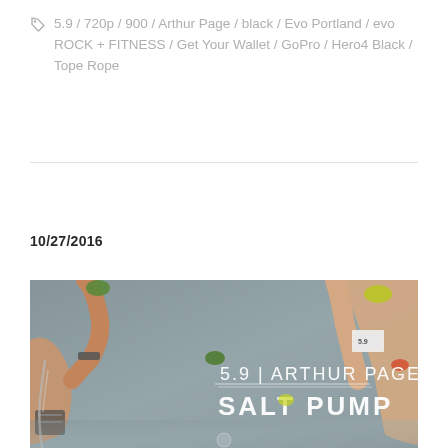5.9 / 720p / 900 / Arthur Page / black / Evo Portland / evo ROCK + FITNESS / Get Your Wallet / GoPro / Hero4 Black / Tope Rope
10/27/2016
[Figure (photo): Rock climbing indoor photo showing two arms reaching up toward climbing holds on a wall. Text overlay reads '5.9 | ARTHUR PAGE' and 'SALT PUMP' in white letters.]